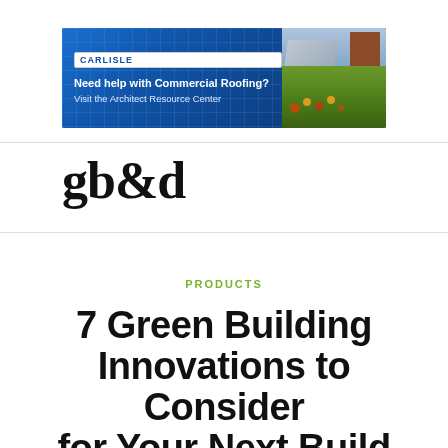[Figure (illustration): Carlisle commercial roofing advertisement banner. Left side shows a blue blueprint background with Carlisle logo and text 'Need help with Commercial Roofing? Visit the Architect Resource Center'. Right side shows a photo of a green roof garden with solar panels and a building.]
gb&d
PRODUCTS
7 Green Building Innovations to Consider for Your Next Build